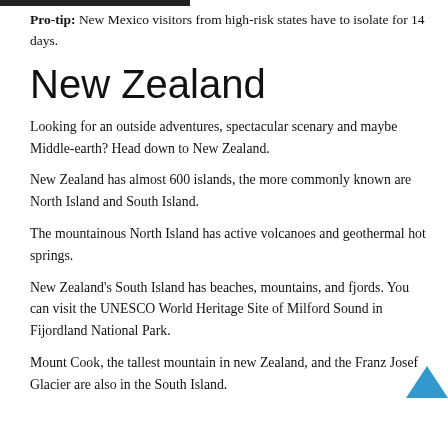Pro-tip: New Mexico visitors from high-risk states have to isolate for 14 days.
New Zealand
Looking for an outside adventures, spectacular scenary and maybe Middle-earth? Head down to New Zealand.
New Zealand has almost 600 islands, the more commonly known are North Island and South Island.
The mountainous North Island has active volcanoes and geothermal hot springs.
New Zealand's South Island has beaches, mountains, and fjords. You can visit the UNESCO World Heritage Site of Milford Sound in Fijordland National Park.
Mount Cook, the tallest mountain in new Zealand, and the Franz Josef Glacier are also in the South Island.